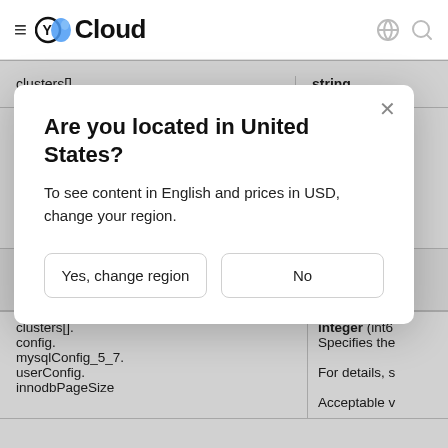Y Cloud
| Field | Type |
| --- | --- |
| clusters[]. | string |
Are you located in United States?
To see content in English and prices in USD, change your region.
|  |  |
| --- | --- |
| mdbPriorityChoiceMaxLag | mdb_offline_
Acceptable v |
| clusters[].
config.
mysqlConfig_5_7.
userConfig.
innodbPageSize | integer (int6
Specifies the
For details, s
Acceptable v |